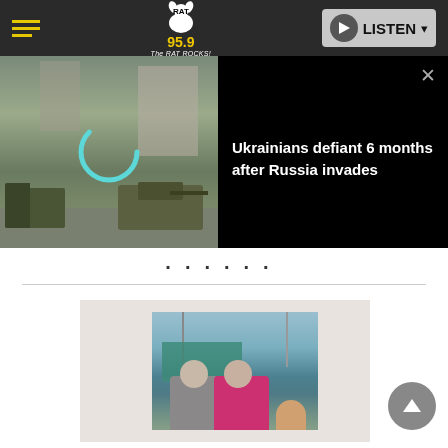RAT 95.9 The RAT ROCKS! — LISTEN
[Figure (screenshot): News video overlay showing military vehicles (tank and truck) on a city street with a teal loading spinner, beside a black panel with headline text and close button]
Ukrainians defiant 6 months after Russia invades
... (partial decorative text) ...
[Figure (photo): Album cover or music-related photo showing a couple sitting at a table in what appears to be a restaurant or marina setting, with boats in the background. A woman in a pink/magenta top and a man in a suit jacket.]